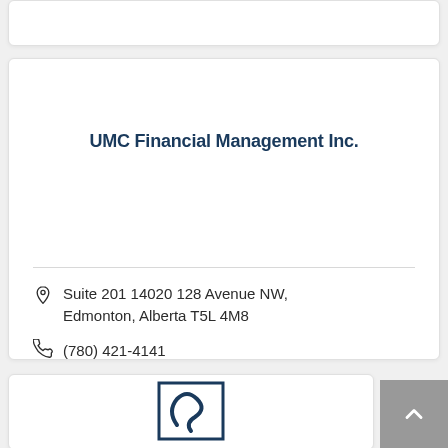UMC Financial Management Inc.
Suite 201 14020 128 Avenue NW, Edmonton, Alberta T5L 4M8
(780) 421-4141
[Figure (logo): CA logo with stylized letter S inside a square border, dark navy blue]